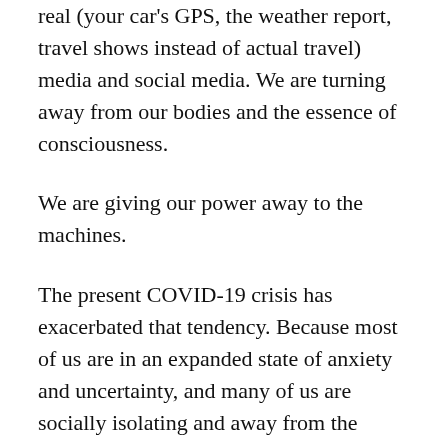real (your car's GPS, the weather report, travel shows instead of actual travel) media and social media. We are turning away from our bodies and the essence of consciousness.
We are giving our power away to the machines.
The present COVID-19 crisis has exacerbated that tendency. Because most of us are in an expanded state of anxiety and uncertainty, and many of us are socially isolating and away from the workplace, we are tuning into the internet and media more often than normal. By implication, in doing so we are disconnecting from our bodies and from the present moment.
Further, because of this pervasive fear, the